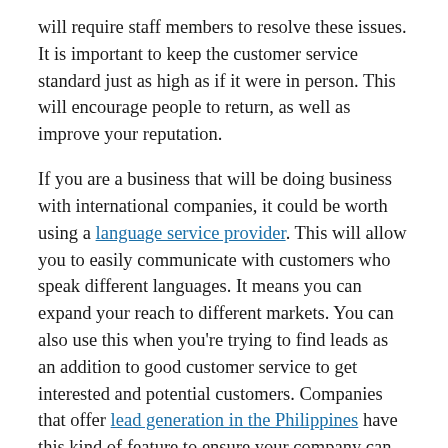will require staff members to resolve these issues. It is important to keep the customer service standard just as high as if it were in person. This will encourage people to return, as well as improve your reputation.
If you are a business that will be doing business with international companies, it could be worth using a language service provider. This will allow you to easily communicate with customers who speak different languages. It means you can expand your reach to different markets. You can also use this when you're trying to find leads as an addition to good customer service to get interested and potential customers. Companies that offer lead generation in the Philippines have this kind of feature to ensure your company can offer your products to a wider range of customers.
Show Off Your Products